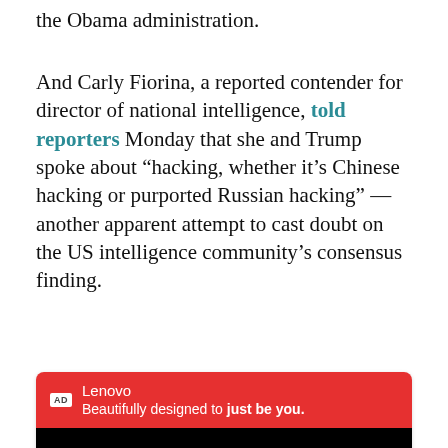the Obama administration.
And Carly Fiorina, a reported contender for director of national intelligence, told reporters Monday that she and Trump spoke about “hacking, whether it’s Chinese hacking or purported Russian hacking” — another apparent attempt to cast doubt on the US intelligence community’s consensus finding.
[Figure (screenshot): Advertisement banner for Lenovo with red background. AD badge on left, text reads: Lenovo / Beautifully designed to just be you. Below is a black video player area showing message: The media could not be loaded, either because the server or network failed or because the format is not supported. A play button arrow icon overlays the center of the video area.]